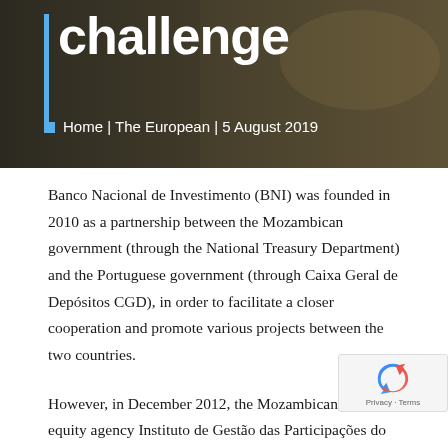[Figure (photo): Header image with wheat field background, blue vertical bar accent, large white title text 'challenge', and breadcrumb navigation showing 'Home | The European | 5 August 2019']
Banco Nacional de Investimento (BNI) was founded in 2010 as a partnership between the Mozambican government (through the National Treasury Department) and the Portuguese government (through Caixa Geral de Depósitos CGD), in order to facilitate a closer cooperation and promote various projects between the two countries.
However, in December 2012, the Mozambican state, through its equity agency Instituto de Gestão das Participações do Estado (IGERE), acquired the CGD participation, and...